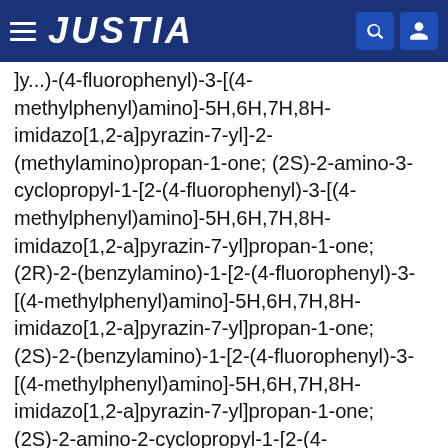JUSTIA
]y...)(4-fluorophenyl)-3-[(4-methylphenyl)amino]-5H,6H,7H,8H-imidazo[1,2-a]pyrazin-7-yl]-2-(methylamino)propan-1-one; (2S)-2-amino-3-cyclopropyl-1-[2-(4-fluorophenyl)-3-[(4-methylphenyl)amino]-5H,6H,7H,8H-imidazo[1,2-a]pyrazin-7-yl]propan-1-one; (2R)-2-(benzylamino)-1-[2-(4-fluorophenyl)-3-[(4-methylphenyl)amino]-5H,6H,7H,8H-imidazo[1,2-a]pyrazin-7-yl]propan-1-one; (2S)-2-(benzylamino)-1-[2-(4-fluorophenyl)-3-[(4-methylphenyl)amino]-5H,6H,7H,8H-imidazo[1,2-a]pyrazin-7-yl]propan-1-one; (2S)-2-amino-2-cyclopropyl-1-[2-(4-fluorophenyl)-3-[(4-methylphenyl)amino]-5H,6H,7H,8H-imidazo[1,2-a]pyrazin-7-yl]ethan-1-one; (2S)-2-amino-3-(3,4-difluorophenyl)-1-[2-(3,4-difluorophenyl)-3-[(4-methylphenyl)amino]-5H,6H,7H,8H-imidazo[1,2-